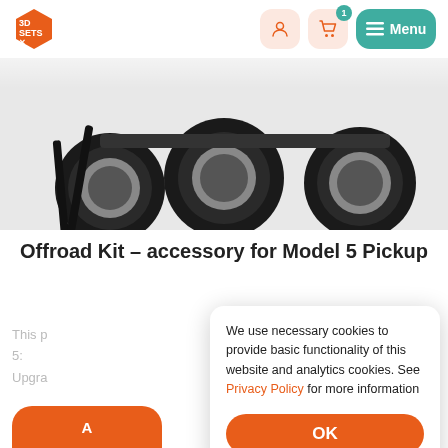3D SETS X — Menu
[Figure (photo): Close-up photo of RC truck undercarriage showing large off-road wheels and tires against white background]
Offroad Kit – accessory for Model 5 Pickup
This p... 5:... Upgra...
We use necessary cookies to provide basic functionality of this website and analytics cookies. See Privacy Policy for more information
OK